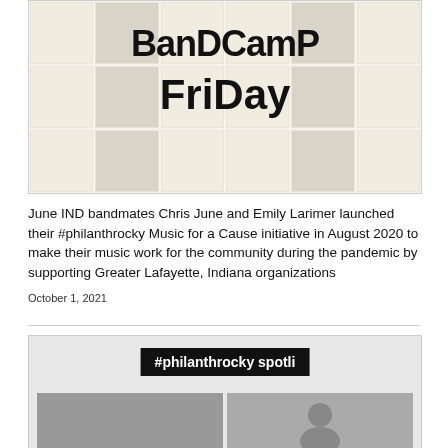[Figure (photo): Bandcamp Friday logo displayed over a grid of album covers on the Bandcamp website. The logo shows 'BanDCamP FriDay' in large black bubbly letters against a collage of album art thumbnails.]
June IND bandmates Chris June and Emily Larimer launched their #philanthrocky Music for a Cause initiative in August 2020 to make their music work for the community during the pandemic by supporting Greater Lafayette, Indiana organizations
October 1, 2021
[Figure (screenshot): Partial screenshot showing '#philanthrocky spotli' banner in white text on black background, with two thumbnail images below — a gray photo and a black and white portrait photo.]